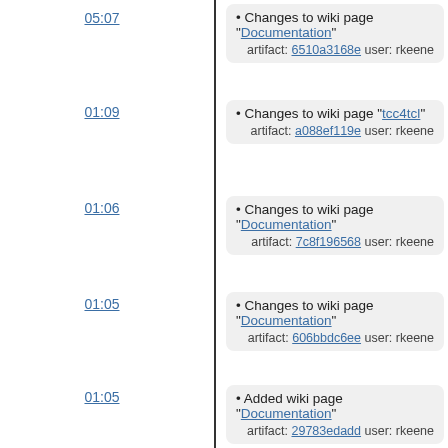05:07 • Changes to wiki page "Documentation" artifact: 6510a3168e user: rkeene
01:09 • Changes to wiki page "tcc4tcl" artifact: a088ef119e user: rkeene
01:06 • Changes to wiki page "Documentation" artifact: 7c8f196568 user: rkeene
01:05 • Changes to wiki page "Documentation" artifact: 606bbdc6ee user: rkeene
01:05 • Added wiki page "Documentation" artifact: 29783edadd user: rkeene
2014-06-16
04:48 Updated to not build TCC as a static so that existing symbols could resolved by TCC itself check-in: fd6711ab73 user: rkeene tags: trunk
04:20 Updated to allow external symbols to be resolved if dlopen() is available